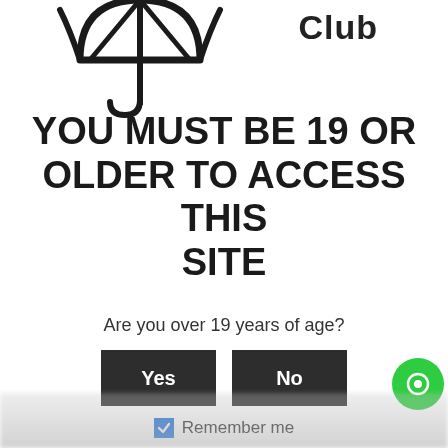[Figure (logo): Umbrella/parachute icon (line art, black on white) cropped at top, with the text 'Club' to its right]
YOU MUST BE 19 OR OLDER TO ACCESS THIS SITE
Are you over 19 years of age?
[Figure (other): Two dark gray buttons labeled 'Yes' and 'No']
Remember me
[Figure (other): Green circle button (chat or support widget) in lower right corner]
[Figure (photo): Blurred/obscured image at the bottom of the page]